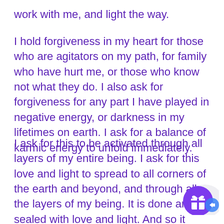work with me, and light the way.
I hold forgiveness in my heart for those who are agitators on my path, for family who have hurt me, or those who know not what they do. I also ask for forgiveness for any part I have played in negative energy, or darkness in my lifetimes on earth. I ask for a balance of karmic energy to unfold immediately.
I ask for this to be activated through all layers of my entire being. I ask for this love and light to spread to all corners of the earth and beyond, and through all the layers of my being. It is done and sealed with love and light. And so it
[Figure (illustration): A purple circular button with a gift/present icon and a blue arrow, partially overlapping the last line of text in the bottom-right corner.]